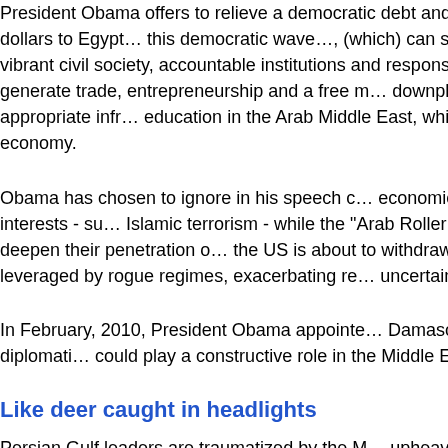President Obama offers to relieve a democratic debt and to channel billions of dollars to Egypt… this democratic wave…, (which) can set a strong elections, a vibrant civil society, accountable institutions and responsible regional leadership… generate trade, entrepreneurship and a free market… downplays the absence of an appropriate infrastructure education in the Arab Middle East, which is a prerequisite for a free market economy.
Obama has chosen to ignore in his speech critical economic and national security interests - such as Islamic terrorism - while the "Arab Roller Coaster", Russia and China deepen their penetration of the region, the US is about to withdraw from Iraq and Afghanistan, leveraged by rogue regimes, exacerbating regional uncertainty.
In February, 2010, President Obama appointed an ambassador to Damascus – following four years of diplomatic boycott – assuming Syria could play a constructive role in the Middle East. Mideast realism…
Like deer caught in headlights
Persian Gulf leaders are traumatized by the upheaval and by a potential Iraqi "earthquake" upon US departure, irrespective of the Palestinian issue… in the face of lethal domestic turbulence, which… Palestinian issue, the Arab-Israeli conflict…